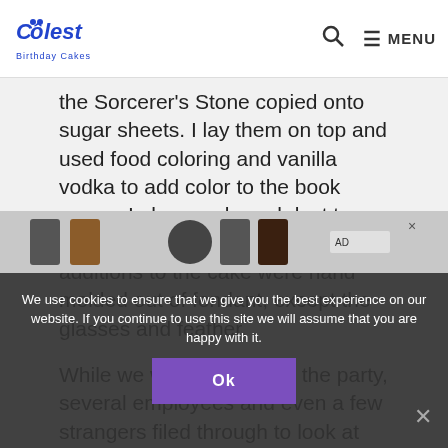Coolest Birthday Cakes — MENU
the Sorcerer's Stone copied onto sugar sheets.  I lay them on top and used food coloring and vanilla vodka to add color to the book pages.  I also used pearl dust to add some luminescence.  The other additions to the cake were hand molded out of fondant, except the glasses and feather.
While we were bowling at the party, several employees and even a few strangers filed through to look at the cake.  I smiled inside as they asked who had made it.  Usually, "Nope, I make cakes and cry the whole time."
We use cookies to ensure that we give you the best experience on our website. If you continue to use this site we will assume that you are happy with it.
Ok